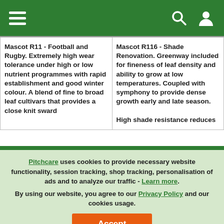Navigation header with hamburger menu, search icon, and user icon
| Mascot R11 - Football and Rugby. Extremely high wear tolerance under high or low nutrient programmes with rapid establishment and good winter colour. A blend of fine to broad leaf cultivars that provides a close knit sward | Mascot R116 - Shade Renovation. Greenway included for fineness of leaf density and ability to grow at low temperatures. Coupled with symphony to provide dense growth early and late season.

High shade resistance reduces |
Pitchcare uses cookies to provide necessary website functionality, session tracking, shop tracking, personalisation of ads and to analyze our traffic - Learn more. By using our website, you agree to our Privacy Policy and our cookies usage.